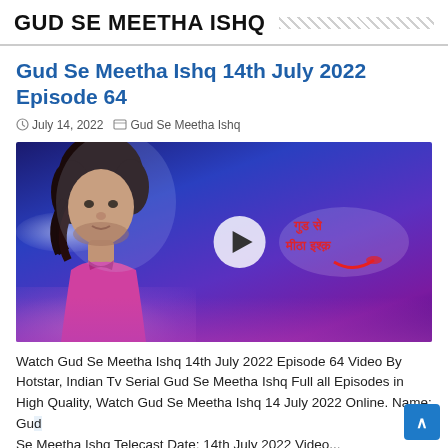GUD SE MEETHA ISHQ
Gud Se Meetha Ishq 14th July 2022 Episode 64
July 14, 2022  Gud Se Meetha Ishq
[Figure (screenshot): Video thumbnail for Gud Se Meetha Ishq episode showing a young man with dark hair against a blue/purple background with clouds and the show's Hindi logo, with a play button overlay in the center]
Watch Gud Se Meetha Ishq 14th July 2022 Episode 64 Video By Hotstar, Indian Tv Serial Gud Se Meetha Ishq Full all Episodes in High Quality, Watch Gud Se Meetha Ishq 14 July 2022 Online. Name: Gud Se Meetha Ishq Telecast Date: 14th July 2022 Video...